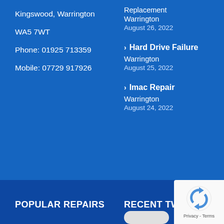Kingswood, Warrington
WA5 7WT
Phone: 01925 713359
Mobile: 07729 917926
Replacement
Warrington
August 26, 2022
Hard Drive Failure Warrington
August 25, 2022
Imac Repair Warrington
August 24, 2022
POPULAR REPAIRS
RECENT TWEETS